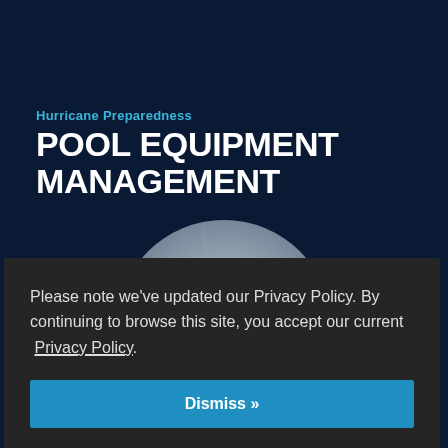Hurricane Preparedness
POOL EQUIPMENT MANAGEMENT
[Figure (illustration): A large light gray/blue circular graphic element centered on the page background, partially visible as a hemisphere.]
Please note we’ve updated our Privacy Policy. By continuing to browse this site, you accept our current Privacy Policy.
Dismiss »